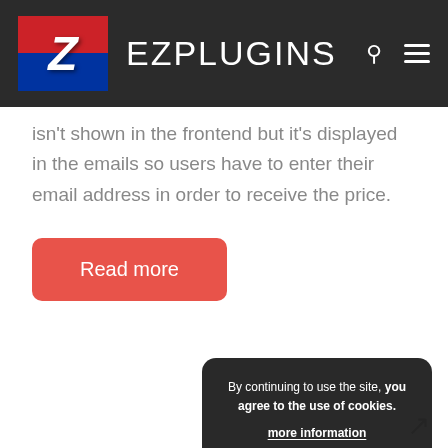EZPLUGINS
isn't shown in the frontend but it's displayed in the emails so users have to enter their email address in order to receive the price.
Read more
[Figure (photo): Food ingredients on dark wooden table — vegetables including celery, garlic, green peppers, and legumes]
By continuing to use the site, you agree to the use of cookies.

more information

Accept